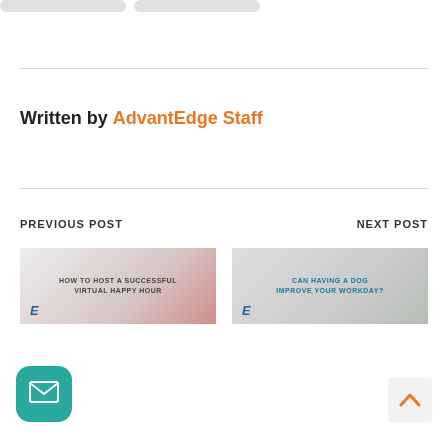Written by AdvantEdge Staff
PREVIOUS POST
NEXT POST
[Figure (other): Previous post thumbnail card with red/pink background showing text: HOW TO HOST A SUCCESSFUL VIRTUAL HAPPY HOUR, with an AdvantEdge italic E logo]
[Figure (other): Next post thumbnail card with muted grey/blue background showing text: CAN HAVING A DOG IMPROVE YOUR WORKDAY?, with an AdvantEdge italic E logo]
[Figure (other): Teal rounded square mail/envelope button icon in bottom left]
[Figure (other): Light grey scroll-to-top arrow button in bottom right]